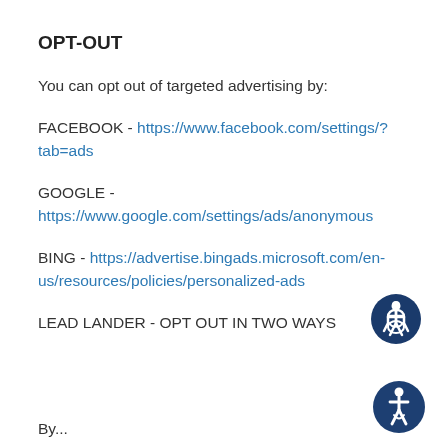OPT-OUT
You can opt out of targeted advertising by:
FACEBOOK - https://www.facebook.com/settings/?tab=ads
GOOGLE - https://www.google.com/settings/ads/anonymous
BING - https://advertise.bingads.microsoft.com/en-us/resources/policies/personalized-ads
LEAD LANDER - OPT OUT IN TWO WAYS
By...